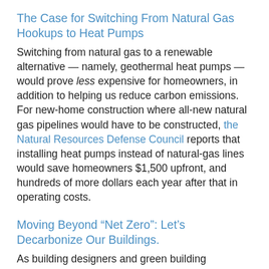The Case for Switching From Natural Gas Hookups to Heat Pumps
Switching from natural gas to a renewable alternative — namely, geothermal heat pumps — would prove less expensive for homeowners, in addition to helping us reduce carbon emissions. For new-home construction where all-new natural gas pipelines would have to be constructed, the Natural Resources Defense Council reports that installing heat pumps instead of natural-gas lines would save homeowners $1,500 upfront, and hundreds of more dollars each year after that in operating costs.
Moving Beyond “Net Zero”: Let’s Decarbonize Our Buildings.
As building designers and green building advocates we should really have four goals we are working towards, instead of simply trying to have our buildings achieve net zero. These four goals are: